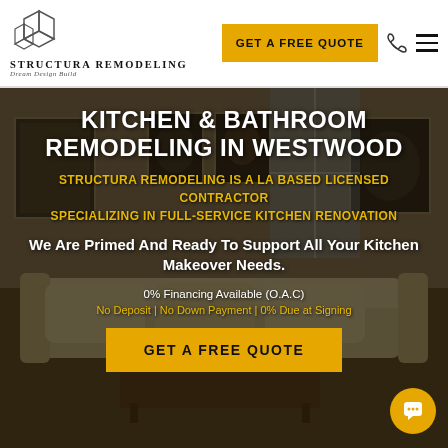[Figure (logo): Structura Remodeling logo — geometric cube outline icon above text 'STRUCTURA REMODELING' with tagline 'Dream Design Build']
GET A FREE QUOTE
[Figure (illustration): Phone/call icon outline]
[Figure (illustration): Hamburger menu icon (three horizontal lines)]
[Figure (photo): Interior living room photo used as hero background — shows sofa, coffee table, framed artwork on walls, dimmed/darkened overlay]
KITCHEN & BATHROOM REMODELING IN WESTWOOD
STRUCTURA REMODELING IS A LA BASED LICENSED CONTRACTOR
SPECIALIZING IN FULL-SERVICE KITCHEN RENOVATION
We Are Primed And Ready To Support All Your Kitchen Makeover Needs.
0% Financing Available (O.A.C)
No Deposit | No Down Payment | 0% Due at Signing
GET A FREE QUOTE
[Figure (illustration): Orange circular chat/speech bubble button in bottom right corner]